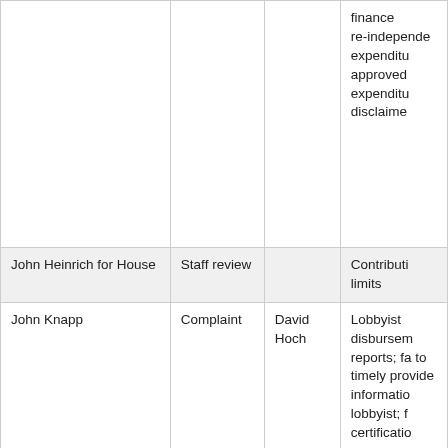|  |  |  | finance re independe expenditu approved expenditu disclaime |
| John Heinrich for House | Staff review |  | Contributi limits |
| John Knapp | Complaint | David Hoch | Lobbyist disbursem reports; fa to timely provide informatio lobbyist; f certificatio |
| John Lesch and John Lesch for State Representative | Board investigation |  | Use of mo collected political purposes certificatio recordkee accountin reporting |